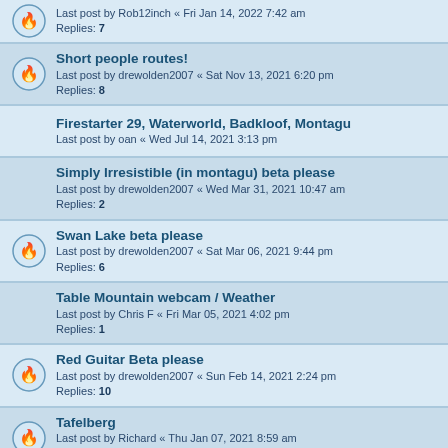Last post by Rob12inch « Fri Jan 14, 2022 7:42 am
Replies: 7
Short people routes!
Last post by drewolden2007 « Sat Nov 13, 2021 6:20 pm
Replies: 8
Firestarter 29, Waterworld, Badkloof, Montagu
Last post by oan « Wed Jul 14, 2021 3:13 pm
Simply Irresistible (in montagu) beta please
Last post by drewolden2007 « Wed Mar 31, 2021 10:47 am
Replies: 2
Swan Lake beta please
Last post by drewolden2007 « Sat Mar 06, 2021 9:44 pm
Replies: 6
Table Mountain webcam / Weather
Last post by Chris F « Fri Mar 05, 2021 4:02 pm
Replies: 1
Red Guitar Beta please
Last post by drewolden2007 « Sun Feb 14, 2021 2:24 pm
Replies: 10
Tafelberg
Last post by Richard « Thu Jan 07, 2021 8:59 am
Replies: 6
Klein Hangklip (Rooi Els) - Some questions
Last post by raphaeltube « Thu Oct 22, 2020 3:04 pm
Replies: 6
Shipley's Frontal - Groot Hangklip
Last post by Heinrich1981 « Mon Aug 24, 2020 11:06 am
Replies: 11